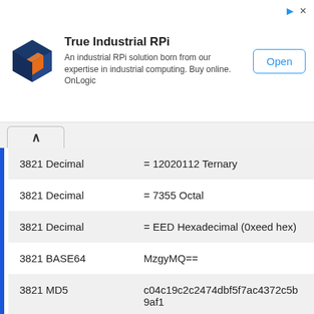[Figure (other): Advertisement banner for True Industrial RPi by OnLogic. Shows a blue/orange cube logo, text 'True Industrial RPi - An industrial RPi solution born from our expertise in industrial computing. Buy online. OnLogic', and an Open button.]
| 3821 Decimal | = 12020112 Ternary |
| 3821 Decimal | = 7355 Octal |
| 3821 Decimal | = EED Hexadecimal (0xeed hex) |
| 3821 BASE64 | MzgyMQ== |
| 3821 MD5 | c04c19c2c2474dbf5f7ac4372c5b9af1 |
| 3821 SHA1 | 95c11aa53bb4ed936ad91a6e17567fa8ef35bd41 |